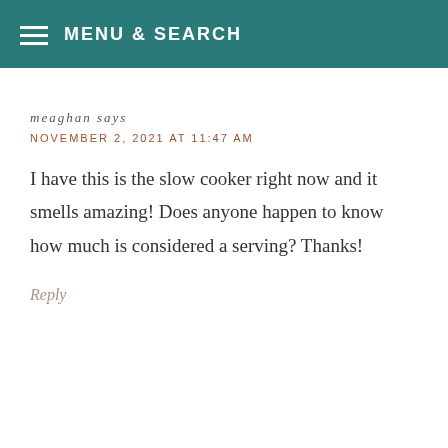MENU & SEARCH
meaghan says
NOVEMBER 2, 2021 AT 11:47 AM
I have this is the slow cooker right now and it smells amazing! Does anyone happen to know how much is considered a serving? Thanks!
Reply